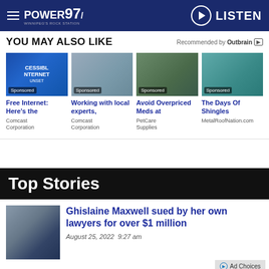Power 97 — Winnipeg's Rock Station | LISTEN
YOU MAY ALSO LIKE
Recommended by Outbrain
[Figure (photo): Sponsored ad image: Free Internet - Comcast Corporation]
Free Internet: Here's the
Comcast Corporation
[Figure (photo): Sponsored ad image: Working with local experts - Comcast Corporation]
Working with local experts,
Comcast Corporation
[Figure (photo): Sponsored ad image: Avoid Overpriced Meds at - PetCare Supplies]
Avoid Overpriced Meds at
PetCare Supplies
[Figure (photo): Sponsored ad image: The Days Of Shingles - MetalRoofNation.com]
The Days Of Shingles
MetalRoofNation.com
Top Stories
[Figure (photo): Thumbnail portrait of Ghislaine Maxwell]
Ghislaine Maxwell sued by her own lawyers for over $1 million
August 25, 2022  9:27 am
Ad Choices